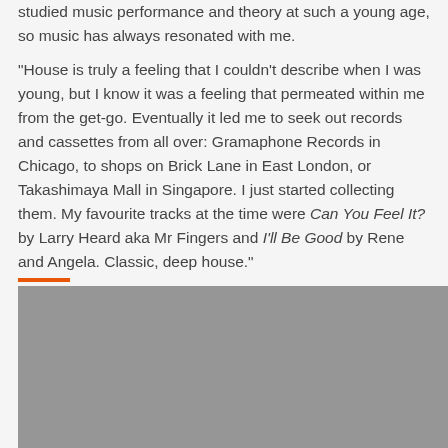studied music performance and theory at such a young age, so music has always resonated with me.
"House is truly a feeling that I couldn't describe when I was young, but I know it was a feeling that permeated within me from the get-go. Eventually it led me to seek out records and cassettes from all over: Gramaphone Records in Chicago, to shops on Brick Lane in East London, or Takashimaya Mall in Singapore. I just started collecting them. My favourite tracks at the time were Can You Feel It? by Larry Heard aka Mr Fingers and I'll Be Good by Rene and Angela. Classic, deep house."
[Figure (photo): Gray rectangular image placeholder at bottom of page with an orange horizontal rule above it]